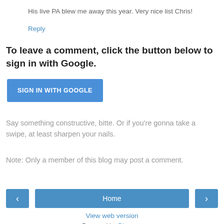His live PA blew me away this year. Very nice list Chris!
Reply
To leave a comment, click the button below to sign in with Google.
[Figure (other): Blue button labeled SIGN IN WITH GOOGLE]
Say something constructive, bitte. Or if you're gonna take a swipe, at least sharpen your nails.
Note: Only a member of this blog may post a comment.
[Figure (other): Navigation bar with left arrow button, Home button, and right arrow button]
View web version
Powered by Blogger.